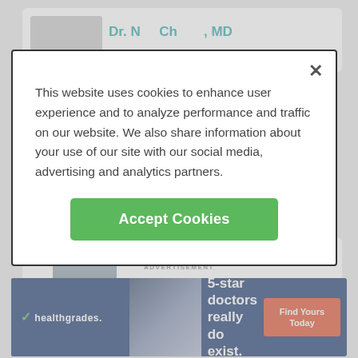[Figure (screenshot): Background webpage showing a doctor listing page (partially visible top card with doctor photo placeholder and teal name text)]
This website uses cookies to enhance user experience and to analyze performance and traffic on our website. We also share information about your use of our site with our social media, advertising and analytics partners.
Accept Cookies
Dr. Neal Khurana, MD
Age 40  |  Vascular & Interventional Radiology
ADVERTISEMENT
[Figure (screenshot): Healthgrades advertisement banner: dark navy background with photo of woman wearing glasses, text '5-star doctors really do exist.' and red 'Find Yours Today' button, healthgrades logo with checkmark]